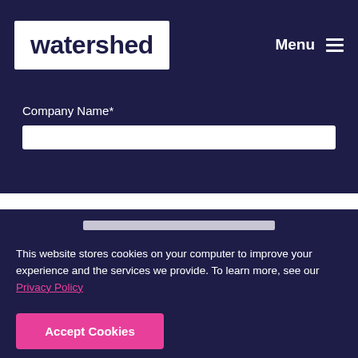watershed
Company Name*
This website stores cookies on your computer to improve your experience and the services we provide. To learn more, see our Privacy Policy
Accept Cookies